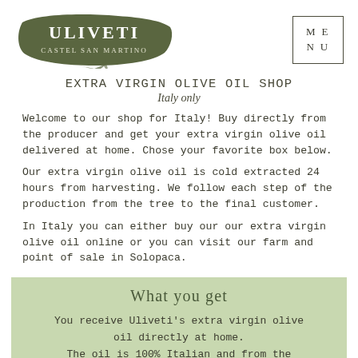[Figure (logo): Uliveti Castel San Martino logo — white text on an olive-green brushstroke background]
EXTRA VIRGIN OLIVE OIL SHOP
Italy only
Welcome to our shop for Italy! Buy directly from the producer and get your extra virgin olive oil delivered at home. Chose your favorite box below.
Our extra virgin olive oil is cold extracted 24 hours from harvesting. We follow each step of the production from the tree to the final customer.
In Italy you can either buy our our extra virgin olive oil online or you can visit our farm and point of sale in Solopaca.
What you get
You receive Uliveti's extra virgin olive oil directly at home.
The oil is 100% Italian and from the latest harvesting season.